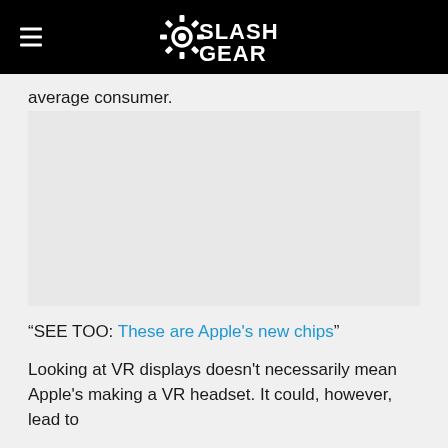SlashGear
average consumer.
“SEE TOO: These are Apple’s new chips”
Looking at VR displays doesn’t necessarily mean Apple’s making a VR headset. It could, however, lead to